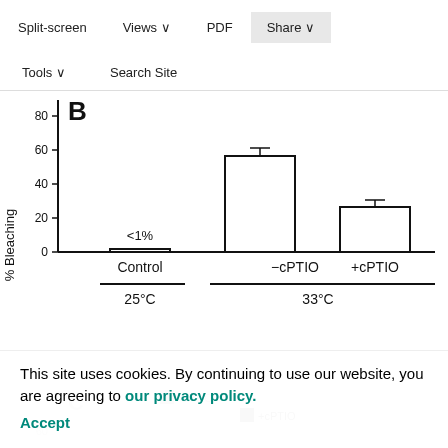Split-screen  Views  PDF  Share  Tools  Search Site
[Figure (bar-chart): Bar chart B showing % Bleaching for Control at 25°C (<1%), -cPTIO at 33°C (~58%), +cPTIO at 33°C (~27%) with error bars]
This site uses cookies. By continuing to use our website, you are agreeing to our privacy policy. Accept